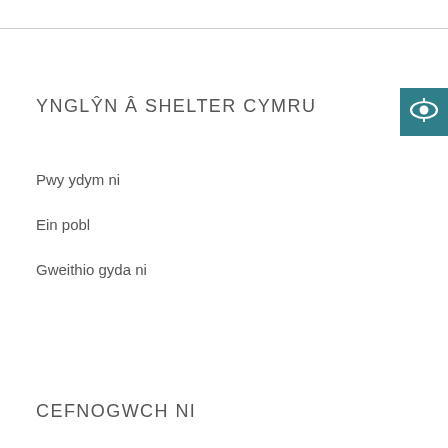[Figure (logo): Shelter Cymru logo — teal square with white stylized figure/eye icon]
YNGLŶN Â SHELTER CYMRU
Pwy ydym ni
Ein pobl
Gweithio gyda ni
CEFNOGWCH NI